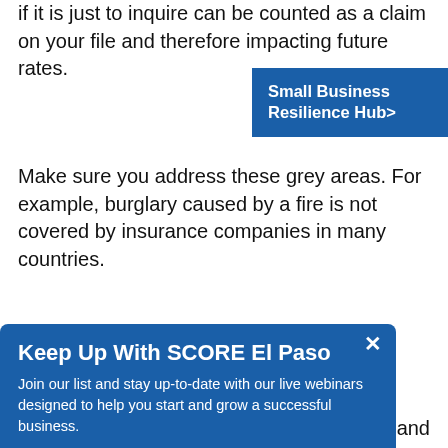if it is just to inquire can be counted as a claim on your file and therefore impacting future rates.
[Figure (other): Blue banner reading 'Small Business Resilience Hub>']
Make sure you address these grey areas. For example, burglary caused by a fire is not covered by insurance companies in many countries.
[Figure (other): Modal popup with title 'Keep Up With SCORE El Paso', body text 'Join our list and stay up-to-date with our live webinars designed to help you start and grow a successful business.', email input and SUBMIT button, close X button.]
Would they need to wait to receive their orders? How long would they need to? What are the alternative methods to contact customer care to inquire and share concerns?